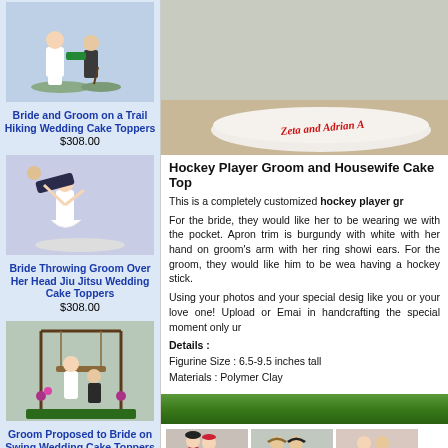[Figure (photo): Bride and Groom on a Trail Hiking Wedding Cake Toppers thumbnail]
Bride and Groom on a Trail Hiking Wedding Cake Toppers
$308.00
[Figure (photo): Bride Throwing Groom Over Her Head Jiu Jitsu Wedding Cake Toppers thumbnail]
Bride Throwing Groom Over Her Head Jiu Jitsu Wedding Cake Toppers
$308.00
[Figure (photo): Groom Proposed to Bride on Swing Wedding Cake Toppers thumbnail]
Groom Proposed to Bride on Swing Wedding Cake Toppers
$308.00
[Figure (photo): Phillies Baseball Wedding Cake Toppers thumbnail]
Phillies Baseball Wedding Cake Toppers
$308.00
[Figure (photo): Hockey Player Groom and Housewife Cake Topper hero product image showing figurines on a cake base with name inscription]
Hockey Player Groom and Housewife Cake Top
This is a completely customized hockey player gr
For the bride, they would like her to be wearing we with the pocket. Apron trim is burgundy with white with her hand on groom's arm with her ring showi ears. For the groom, they would like him to be wea having a hockey stick.
Using your photos and your special desig like you or your love one! Upload or Emai in handcrafting the special moment only ur
Details :
Figurine Size : 6.5-9.5 inches tall
Materials : Polymer Clay
[Figure (photo): Related product thumbnail 1 - couple figurine]
[Figure (photo): Related product thumbnail 2 - couple figurine with hats]
[Figure (photo): Related product thumbnail 3 - couple figurine]